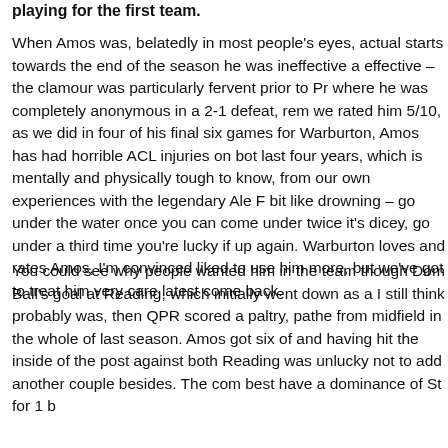playing for the first team.
When Amos was, belatedly in most people's eyes, actual starts towards the end of the season he was ineffective a effective – the clamour was particularly fervent prior to Pr where he was completely anonymous in a 2-1 defeat, rem we rated him 5/10, as we did in four of his final six games for Warburton, Amos has had horrible ACL injuries on bot last four years, which is mentally and physically tough to know, from our own experiences with the legendary Ale F bit like drowning – go under the water once you can come under twice it's dicey, go under a third time you're lucky if up again. Warburton loves and rates Amos, I'm convinced liked to use him more, but we've got to treat him very care latest come back.
You could see why people wanted him in the team though Dom Ball's goal at Reading, which initially went down as a I still think probably was, then QPR scored a paltry, pathe from midfield in the whole of last season. Amos got six of and having hit the inside of the post against both Reading was unlucky not to add another couple besides. The com best have a dominance of St for 1 b...